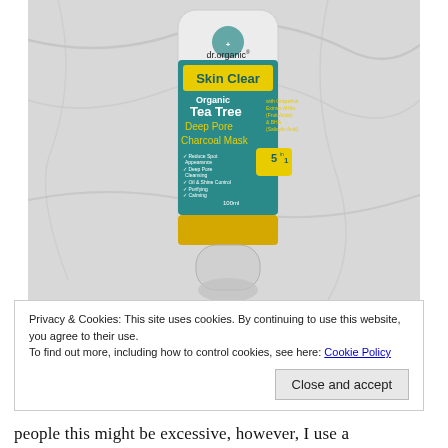[Figure (photo): Photo of a dr.organic Skin Clear Organic Tea Tree Deep Pore Charcoal Mask 5-in-1 tube (100ml), placed on a marble surface. The tube is white and teal with yellow label highlights.]
Privacy & Cookies: This site uses cookies. By continuing to use this website, you agree to their use.
To find out more, including how to control cookies, see here: Cookie Policy
Close and accept
people this might be excessive, however, I use a